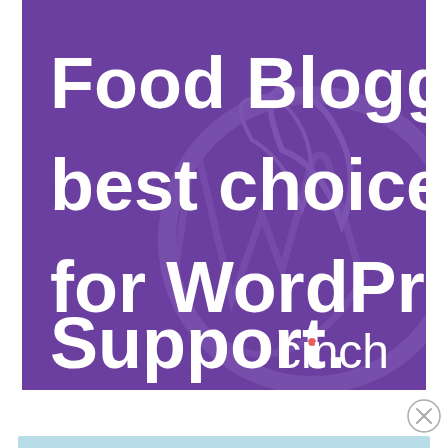[Figure (illustration): Advertisement banner with purple background featuring WordPress logo watermark. Bold white text reads 'Food Bloggers best choice for WordPress Support.' with the 'cinch' brand logo in white at the bottom right.]
[Figure (illustration): Close button (X in circle) at top right of the ad area below the main banner, on a white background.]
[Figure (illustration): Partial blue/teal colored banner visible at the very bottom of the page.]